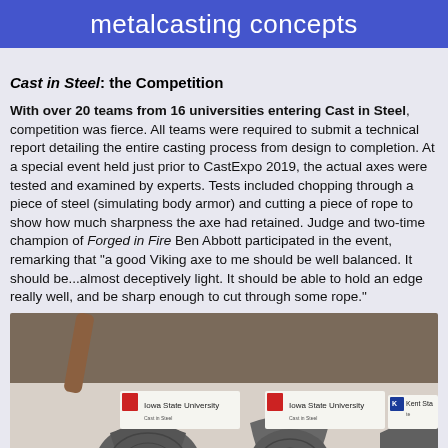metalcasting concepts
Cast in Steel: the Competition
With over 20 teams from 16 universities entering Cast in Steel, competition was fierce. All teams were required to submit a technical report detailing the entire casting process from design to completion. At a special event held just prior to CastExpo 2019, the actual axes were tested and examined by experts. Tests included chopping through a piece of steel (simulating body armor) and cutting a piece of rope to show how much sharpness the axe had retained. Judge and two-time champion of Forged in Fire Ben Abbott participated in the event, remarking that "a good Viking axe to me should be well balanced. It should be...almost deceptively light. It should be able to hold an edge really well, and be sharp enough to cut through some rope."
[Figure (photo): Photo of three Viking-style cast steel axes laid on a white surface with name placards: two labeled Iowa State University and one partially visible labeled Kent State, with wooden handles.]